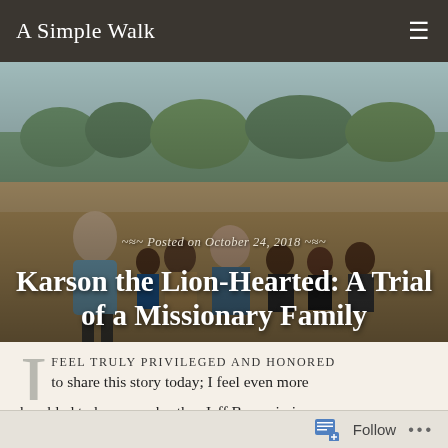A Simple Walk
[Figure (photo): Group photo of a man and woman with several African children in a field with trees in the background. The image serves as the hero/banner for the blog post.]
Posted on October 24, 2018
Karson the Lion-Hearted: A Trial of a Missionary Family
I FEEL TRULY PRIVILEGED AND HONORED to share this story today; I feel even more humbled to know my brother Jeff Bys, missionary with About Face Missions (AFM). This story comes
Follow ...